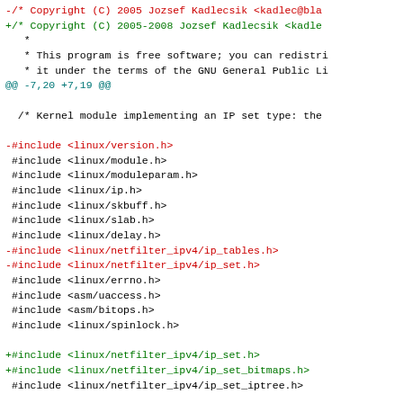diff --git a/... b/...
-/* Copyright (C) 2005 Jozsef Kadlecsik <kadlec@bla
+/* Copyright (C) 2005-2008 Jozsef Kadlecsik <kadle
 *
 * This program is free software; you can redistri
 * it under the terms of the GNU General Public Li
@@ -7,20 +7,19 @@

  /* Kernel module implementing an IP set type: the

-#include <linux/version.h>
 #include <linux/module.h>
 #include <linux/moduleparam.h>
 #include <linux/ip.h>
 #include <linux/skbuff.h>
 #include <linux/slab.h>
 #include <linux/delay.h>
-#include <linux/netfilter_ipv4/ip_tables.h>
-#include <linux/netfilter_ipv4/ip_set.h>
 #include <linux/errno.h>
 #include <asm/uaccess.h>
 #include <asm/bitops.h>
 #include <linux/spinlock.h>

+#include <linux/netfilter_ipv4/ip_set.h>
+#include <linux/netfilter_ipv4/ip_set_bitmaps.h>
 #include <linux/netfilter_ipv4/ip_set_iptree.h>

  static int limit = MAX_RANGE;
@@ -61,7 +60,7 @@ static __KMEM_CACHE_T__ *leaf_cac
  } while (0)